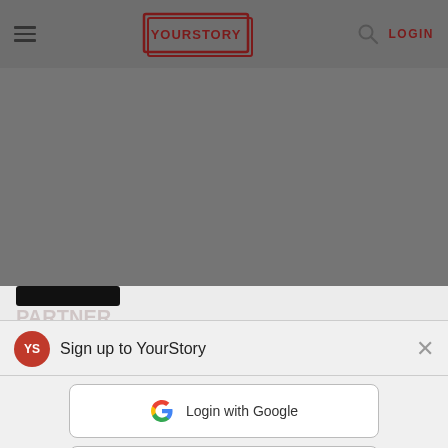[Figure (screenshot): YourStory website screenshot showing navigation bar with hamburger menu, YourStory logo, search icon, and LOGIN button on dark gray background]
Sign up to YourStory
[Figure (other): Login with Google button with Google G logo]
[Figure (other): Login with Facebook button with Facebook f logo]
By signing up for YourStory, you agree to the Terms of Service and Privacy Policy of the platform